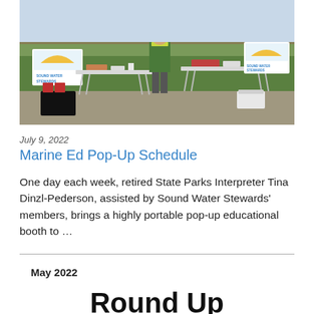[Figure (photo): Outdoor photo showing a person in a safety vest standing behind folding tables with educational materials and Sound Water Stewards signage, set up on a gravel area with green vegetation in the background.]
July 9, 2022
Marine Ed Pop-Up Schedule
One day each week, retired State Parks Interpreter Tina Dinzl-Pederson, assisted by Sound Water Stewards' members, brings a highly portable pop-up educational booth to …
May 2022
Round Up